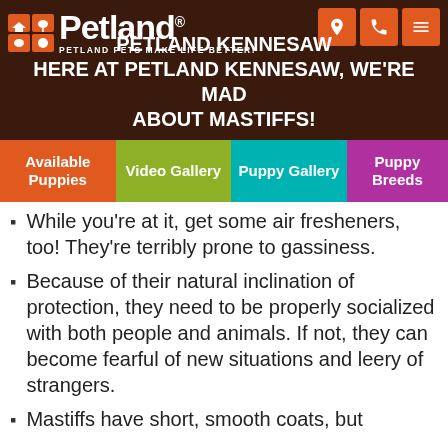Petland - PETLAND PETS MAKE LIFE BETTER!
PETLAND KENNESAW
HERE AT PETLAND KENNESAW, WE'RE MAD ABOUT MASTIFFS!
While you're at it, get some air fresheners, too! They're terribly prone to gassiness.
Because of their natural inclination of protection, they need to be properly socialized with both people and animals. If not, they can become fearful of new situations and leery of strangers.
Mastiffs have short, smooth coats, but